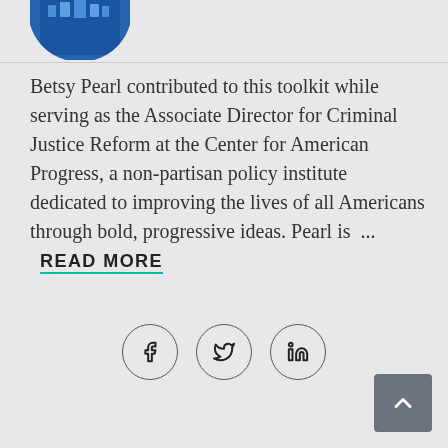[Figure (logo): Circular blue logo with building/institution image, partially cropped at top-left corner]
Betsy Pearl contributed to this toolkit while serving as the Associate Director for Criminal Justice Reform at the Center for American Progress, a non-partisan policy institute dedicated to improving the lives of all Americans through bold, progressive ideas. Pearl is ...  READ MORE
[Figure (infographic): Three social media sharing icons in circles: Facebook (f), Twitter (bird), LinkedIn (in)]
[Figure (other): Back to top button - grey square with upward chevron arrow]